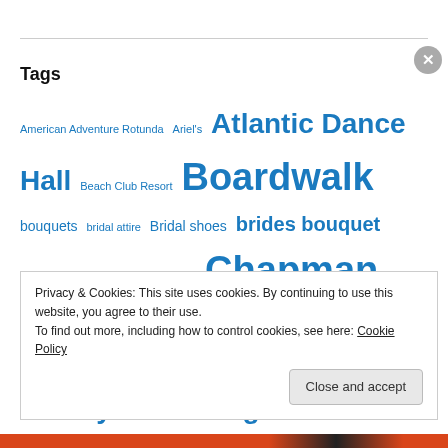Tags
American Adventure Rotunda Ariel's Atlantic Dance Hall Beach Club Resort Boardwalk bouquets bridal attire Bridal shoes brides bouquet California Grill centerpieces Chapman Photography chocolate slipper Cinderella's Coach Cocktail Hour Contemporary Resort dessert party Disney Disney's Wedding Pavilion Disney Bride
Privacy & Cookies: This site uses cookies. By continuing to use this website, you agree to their use.
To find out more, including how to control cookies, see here: Cookie Policy
Close and accept